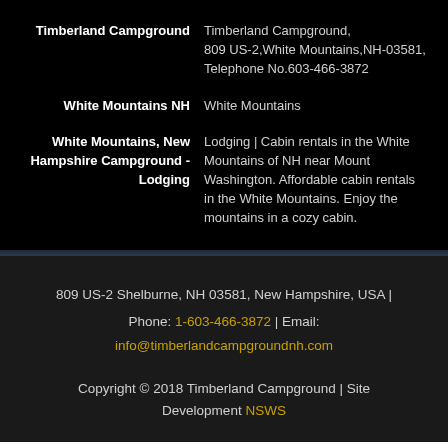| Timberland Campground | Timberland Campground,
809 US-2,White Mountains,NH-03581,
Telephone No.603-466-3872 |
| White Mountains NH | White Mountains |
| White Mountains, New Hampshire Campground - Lodging | Lodging | Cabin rentals in the White Mountains of NH near Mount Washington. Affordable cabin rentals in the White Mountains. Enjoy the mountains in a cozy cabin. |
809 US-2 Shelburne, NH 03581, New Hampshire, USA | Phone: 1-603-466-3872 | Email:
info@timberlandcampgroundnh.com
Copyright © 2018 Timberland Campground | Site Development NSWS